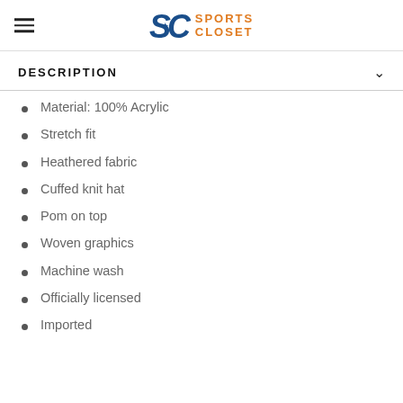[Figure (logo): Sports Closet logo with SC monogram in blue and 'SPORTS CLOSET' text in orange]
DESCRIPTION
Material: 100% Acrylic
Stretch fit
Heathered fabric
Cuffed knit hat
Pom on top
Woven graphics
Machine wash
Officially licensed
Imported